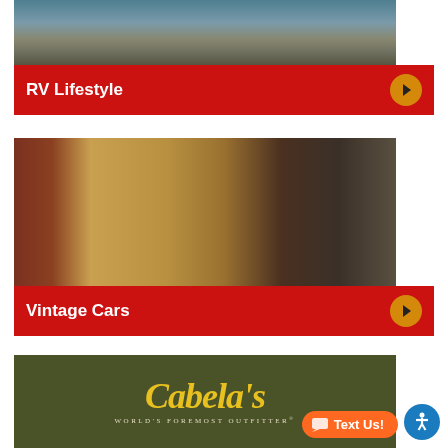[Figure (photo): Outdoor scene with RVs parked near rocky shore with water and hills in background]
RV Lifestyle
[Figure (photo): Indoor collection of vintage antique cars including yellow/tan and dark colored early 1900s automobiles]
Vintage Cars
[Figure (logo): Cabela's logo on dark olive/green background with yellow script text and subtitle 'World's Foremost Outfitter']
Text Us!